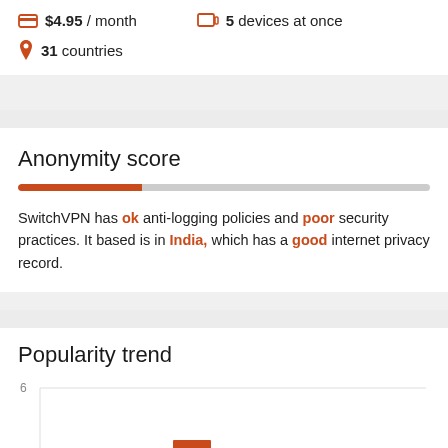$4.95 / month
5 devices at once
31 countries
Anonymity score
SwitchVPN has ok anti-logging policies and poor security practices. It based is in India, which has a good internet privacy record.
Popularity trend
[Figure (bar-chart): Partial bar chart showing popularity trend, one orange bar visible at bottom]